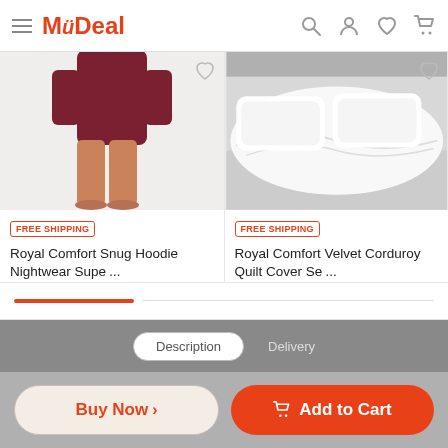MyDeal
[Figure (photo): Person wearing dark maroon/red shorts standing, showing legs from waist down on white background]
FREE SHIPPING
Royal Comfort Snug Hoodie Nightwear Supe ...
$39.95
[Figure (photo): White bedding/quilt on a bed, close-up showing fluffy white duvet and pillows]
FREE SHIPPING
Royal Comfort Velvet Corduroy Quilt Cover Se ...
$59.95
Description
Delivery
Buy Now >
Add to Cart